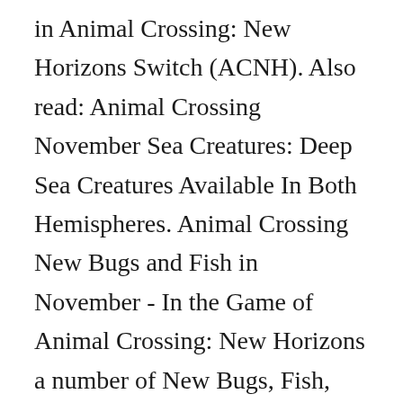in Animal Crossing: New Horizons Switch (ACNH). Also read: Animal Crossing November Sea Creatures: Deep Sea Creatures Available In Both Hemispheres. Animal Crossing New Bugs and Fish in November - In the Game of Animal Crossing: New Horizons a number of New Bugs, Fish, and Sea Creatures have arrived in the Game. Winter - Seasonal DIY Recipes & Limited Time Furniture List. The player can go diving after purchasing a wetsuit from the Nookstop, in the sea and collect these creatures, which can be donated to Blathers at the Museum , or scallops can be traded with Pascal The otter for DIY recipes. Animal Crossing: New Horizons Sea Creatures for